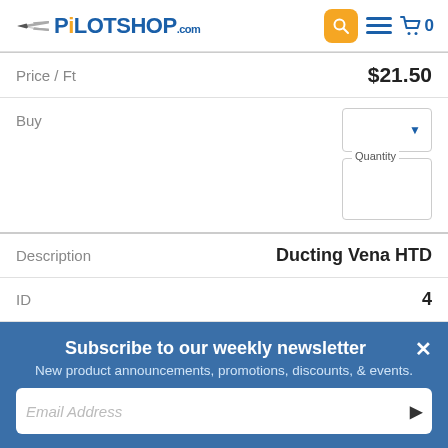[Figure (logo): PilotShop.com logo with airplane icon, blue and orange colors]
Price / Ft
$21.50
Buy
Quantity
Description
Ducting Vena HTD
ID
4
Part No
05-30616
Subscribe to our weekly newsletter
New product announcements, promotions, discounts, & events.
Email Address